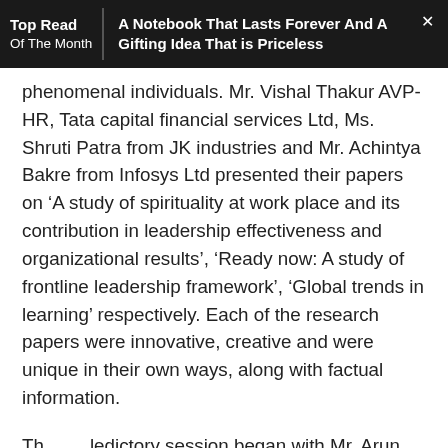Top Read Of The Month | A Notebook That Lasts Forever And A Gifting Idea That is Priceless
phenomenal individuals. Mr. Vishal Thakur AVP-HR, Tata capital financial services Ltd, Ms. Shruti Patra from JK industries and Mr. Achintya Bakre from Infosys Ltd presented their papers on ‘A study of spirituality at work place and its contribution in leadership effectiveness and organizational results’, ‘Ready now: A study of frontline leadership framework’, ‘Global trends in learning’ respectively. Each of the research papers were innovative, creative and were unique in their own ways, along with factual information.
The valedictory session began with Mr. Arun Ghurghia, who had to present the summary of the Summit proceedings. Mr. Arun who is the CEO at